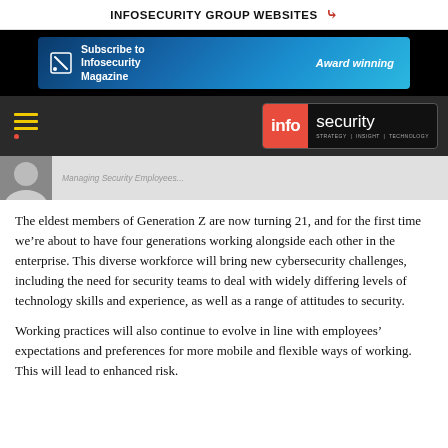INFOSECURITY GROUP WEBSITES
[Figure (screenshot): Advertisement banner for Infosecurity Magazine subscription with blue network graphic background and pencil icon. Text reads 'Subscribe to Infosecurity Magazine' and 'Award winning'.]
[Figure (screenshot): Dark navigation bar with yellow hamburger menu icon on left and Infosecurity Magazine logo (red 'info' box + white 'security' text) on right, with tagline 'STRATEGY | INSIGHT | TECHNOLOGY'.]
[Figure (photo): Partial photo strip showing a person in a suit, with a grey caption area to the right.]
The eldest members of Generation Z are now turning 21, and for the first time we're about to have four generations working alongside each other in the enterprise. This diverse workforce will bring new cybersecurity challenges, including the need for security teams to deal with widely differing levels of technology skills and experience, as well as a range of attitudes to security.
Working practices will also continue to evolve in line with employees' expectations and preferences for more mobile and flexible ways of working. This will lead to enhanced risk.